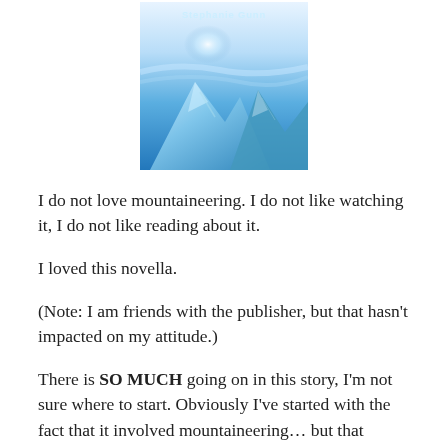[Figure (illustration): Book cover image showing a blue mountain/ice scene with the author name 'Stephanie Gunn' at the top in light blue text.]
I do not love mountaineering. I do not like watching it, I do not like reading about it.
I loved this novella.
(Note: I am friends with the publisher, but that hasn't impacted on my attitude.)
There is SO MUCH going on in this story, I'm not sure where to start. Obviously I've started with the fact that it involved mountaineering… but that doesn't tell you much. This is ultimately a story about climbing a mountain with a lost